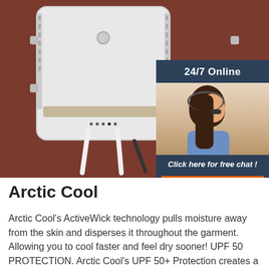[Figure (photo): Photo of a white outdoor WiFi router/access point with cables attached, mounted against a dark brown/red background. A chat widget overlay appears in the upper right showing '24/7 Online', a woman with a headset, 'Click here for free chat!', and a QUOTATION button.]
Arctic Cool
Arctic Cool's ActiveWick technology pulls moisture away from the skin and disperses it throughout the garment. Allowing you to cool faster and feel dry sooner! UPF 50 PROTECTION. Arctic Cool's UPF 50+ Protection creates a barrier for 98% of the suns